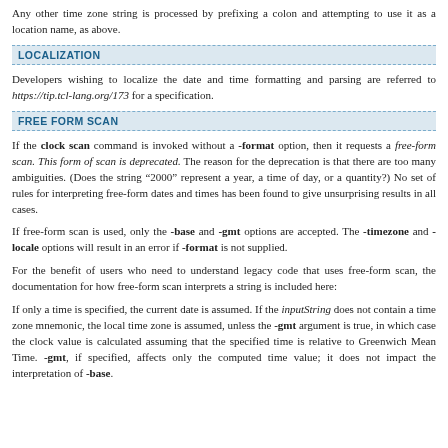Any other time zone string is processed by prefixing a colon and attempting to use it as a location name, as above.
LOCALIZATION
Developers wishing to localize the date and time formatting and parsing are referred to https://tip.tcl-lang.org/173 for a specification.
FREE FORM SCAN
If the clock scan command is invoked without a -format option, then it requests a free-form scan. This form of scan is deprecated. The reason for the deprecation is that there are too many ambiguities. (Does the string “2000” represent a year, a time of day, or a quantity?) No set of rules for interpreting free-form dates and times has been found to give unsurprising results in all cases.
If free-form scan is used, only the -base and -gmt options are accepted. The -timezone and -locale options will result in an error if -format is not supplied.
For the benefit of users who need to understand legacy code that uses free-form scan, the documentation for how free-form scan interprets a string is included here:
If only a time is specified, the current date is assumed. If the inputString does not contain a time zone mnemonic, the local time zone is assumed, unless the -gmt argument is true, in which case the clock value is calculated assuming that the specified time is relative to Greenwich Mean Time. -gmt, if specified, affects only the computed time value; it does not impact the interpretation of -base.